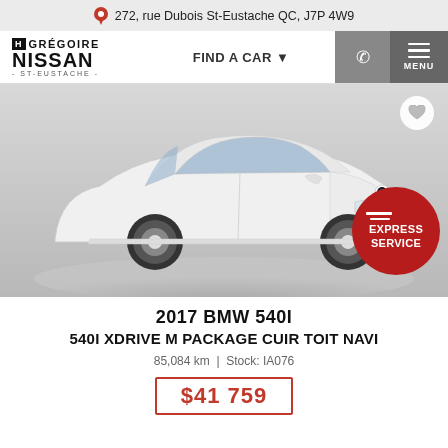272, rue Dubois St-Eustache QC, J7P 4W9
[Figure (logo): Grégoire Nissan St-Eustache logo with navigation bar including FIND A CAR link, phone icon and MENU button]
[Figure (photo): White 2017 BMW 540i sedan, three-quarter front view, on grey background with Express Service red badge in bottom right corner]
2017 BMW 540I
540i xDrive M PACKAGE CUIR TOIT NAVI
85,084 km | Stock: IA076
$41 759